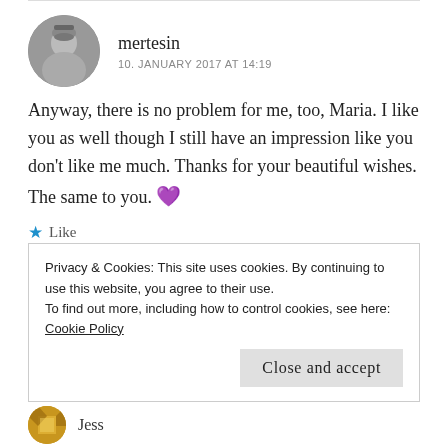[Figure (photo): Circular avatar photo of user mertesin — monochrome/sepia photo of a person]
mertesin
10. JANUARY 2017 AT 14:19
Anyway, there is no problem for me, too, Maria. I like you as well though I still have an impression like you don't like me much. Thanks for your beautiful wishes. The same to you. 💜
★ Like
Reply
Privacy & Cookies: This site uses cookies. By continuing to use this website, you agree to their use.
To find out more, including how to control cookies, see here: Cookie Policy
Close and accept
Jess